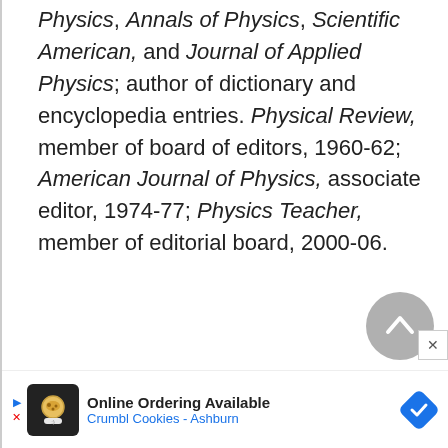Physics, Annals of Physics, Scientific American, and Journal of Applied Physics; author of dictionary and encyclopedia entries. Physical Review, member of board of editors, 1960-62; American Journal of Physics, associate editor, 1974-77; Physics Teacher, member of editorial board, 2000-06.
[Figure (other): Gray circular scroll-to-top button with upward chevron arrow]
[Figure (other): Advertisement banner: Online Ordering Available, Crumbl Cookies - Ashburn, with cookie icon and navigation arrow icon]